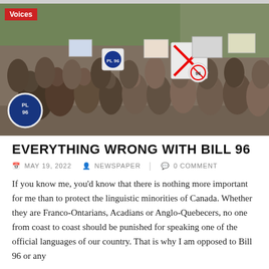[Figure (photo): Large crowd of protesters marching in the street, many holding signs opposing Bill 96, with 'PL 96' visible on signs and barriers.]
EVERYTHING WRONG WITH BILL 96
MAY 19, 2022   NEWSPAPER   0 COMMENT
If you know me, you'd know that there is nothing more important for me than to protect the linguistic minorities of Canada. Whether they are Franco-Ontarians, Acadians or Anglo-Quebecers, no one from coast to coast should be punished for speaking one of the official languages of our country. That is why I am opposed to Bill 96 or any